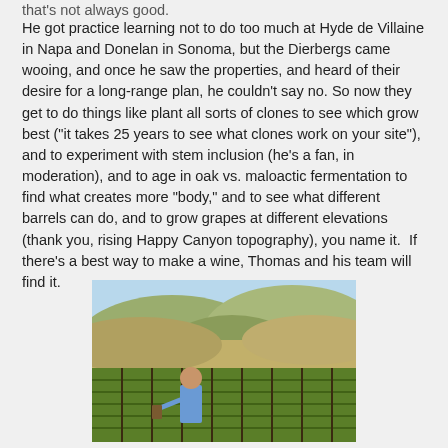that's not always good.
He got practice learning not to do too much at Hyde de Villaine in Napa and Donelan in Sonoma, but the Dierbergs came wooing, and once he saw the properties, and heard of their desire for a long-range plan, he couldn't say no. So now they get to do things like plant all sorts of clones to see which grow best ("it takes 25 years to see what clones work on your site"), and to experiment with stem inclusion (he's a fan, in moderation), and to age in oak vs. maloactic fermentation to find what creates more "body," and to see what different barrels can do, and to grow grapes at different elevations (thank you, rising Happy Canyon topography), you name it.  If there's a best way to make a wine, Thomas and his team will find it.
[Figure (photo): A person standing in a vineyard with rows of grapevines, rolling hills and mountains in the background under a light blue sky.]